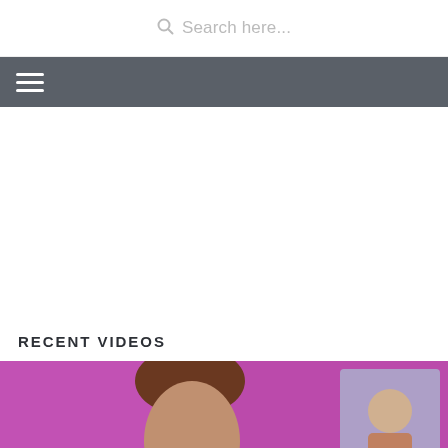Search here...
[Figure (screenshot): Navigation bar with hamburger menu icon on dark grey background]
RECENT VIDEOS
[Figure (photo): Video thumbnail showing a person with pink/purple background and a portrait on the right]